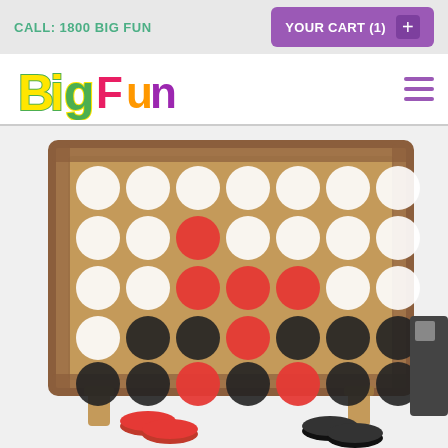CALL: 1800 BIG FUN
YOUR CART (1)
[Figure (logo): Big Fun logo with colorful bubble letters]
[Figure (photo): Large wooden Connect Four game board with red and black checker pieces, some pieces on the ground below]